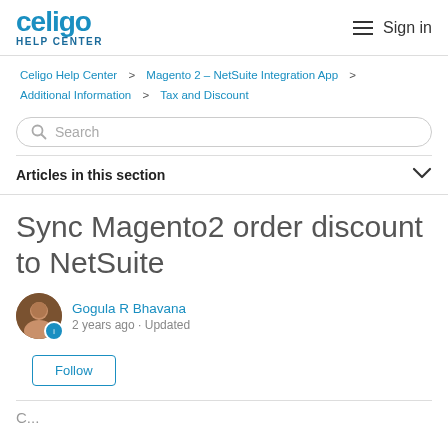celigo HELP CENTER | Sign in
Celigo Help Center > Magento 2 – NetSuite Integration App > Additional Information > Tax and Discount
Sync Magento2 order discount to NetSuite
Gogula R Bhavana
2 years ago · Updated
Follow